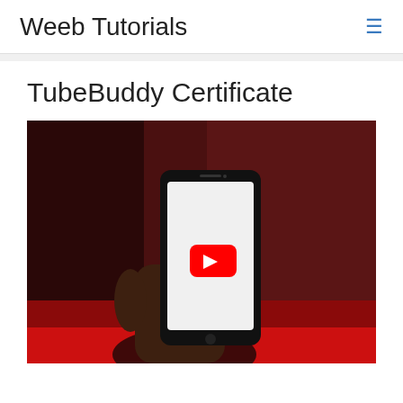Weeb Tutorials
TubeBuddy Certificate
[Figure (photo): A hand holding a smartphone displaying the YouTube app logo (red play button on white screen) against a dark red/brown background, with a red gradient at the bottom.]